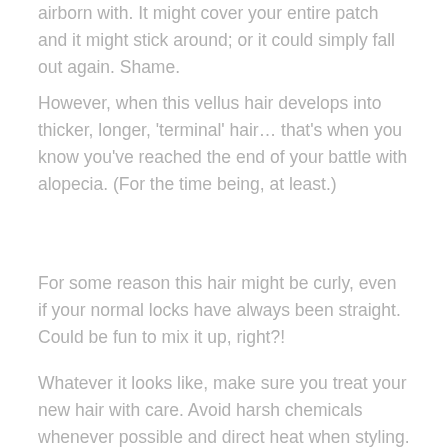airborn with. It might cover your entire patch and it might stick around; or it could simply fall out again. Shame.
However, when this vellus hair develops into thicker, longer, 'terminal' hair… that's when you know you've reached the end of your battle with alopecia. (For the time being, at least.)
For some reason this hair might be curly, even if your normal locks have always been straight. Could be fun to mix it up, right?!
Whatever it looks like, make sure you treat your new hair with care. Avoid harsh chemicals whenever possible and direct heat when styling.